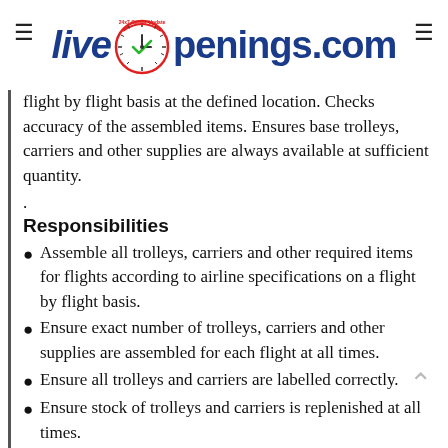LiveOpenings.com
flight by flight basis at the defined location. Checks accuracy of the assembled items. Ensures base trolleys, carriers and other supplies are always available at sufficient quantity.
.
Responsibilities
Assemble all trolleys, carriers and other required items for flights according to airline specifications on a flight by flight basis.
Ensure exact number of trolleys, carriers and other supplies are assembled for each flight at all times.
Ensure all trolleys and carriers are labelled correctly.
Ensure stock of trolleys and carriers is replenished at all times.
Coordinate with food packers and supervisor to ensure accuracy, specification adherence and supply of each